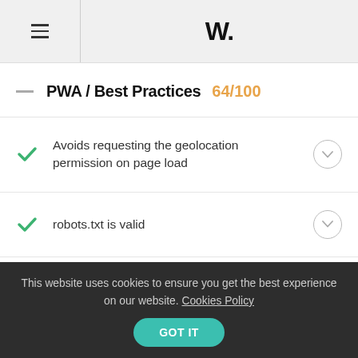W.
PWA / Best Practices  64/100
Avoids requesting the geolocation permission on page load
robots.txt is valid
Avoids requesting the notification permission on page load
Avoids deprecated APIs
This website uses cookies to ensure you get the best experience on our website. Cookies Policy  GOT IT